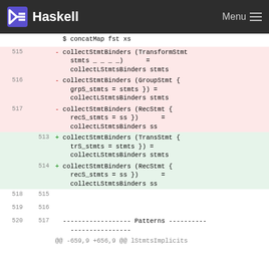Haskell  Menu
Code diff view showing changes to collectStmtBinders functions in Haskell source
| old ln | new ln | diff |
| --- | --- | --- |
|  |  |   $ concatMap fst xs |
| 515 |  | - collectStmtBinders (TransformStmt stmts _ _ _ _)      = collectLStmtsBinders stmts |
| 516 |  | - collectStmtBinders (GroupStmt { grpS_stmts = stmts }) = collectLStmtsBinders stmts |
| 517 |  | - collectStmtBinders (RecStmt { recS_stmts = ss })      = collectLStmtsBinders ss |
|  | 513 | + collectStmtBinders (TransStmt { trS_stmts = stmts }) = collectLStmtsBinders stmts |
|  | 514 | + collectStmtBinders (RecStmt { recS_stmts = ss })     = collectLStmtsBinders ss |
| 518 | 515 |  |
| 519 | 516 |  |
| 520 | 517 |   ------------------ Patterns -------------------------------- |
|  |  | @@ -659,9 +656,9 @@ lStmtsImplicits |